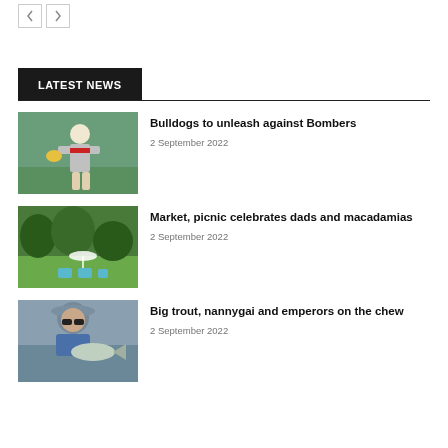LATEST NEWS
Bulldogs to unleash against Bombers
2 September 2022
[Figure (photo): Australian rules footballer in red, black and white jersey about to kick a yellow ball on a grass field]
Market, picnic celebrates dads and macadamias
2 September 2022
[Figure (photo): Outdoor market scene with blue chairs and umbrella, trees in background, people seated]
Big trout, nannygai and emperors on the chew
2 September 2022
[Figure (photo): Person in hat and sunglasses holding a large fish near water]